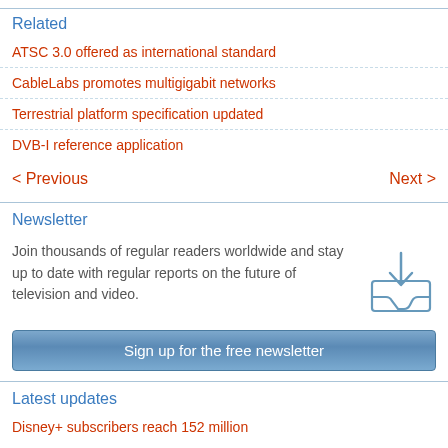Related
ATSC 3.0 offered as international standard
CableLabs promotes multigigabit networks
Terrestrial platform specification updated
DVB-I reference application
< Previous    Next >
Newsletter
Join thousands of regular readers worldwide and stay up to date with regular reports on the future of television and video.
Sign up for the free newsletter
Latest updates
Disney+ subscribers reach 152 million